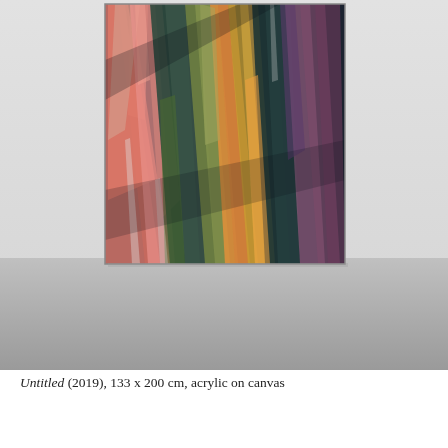[Figure (photo): Gallery installation photograph showing an abstract painting hung on a white wall above a grey floor. The painting features bold, diagonal brushstrokes in coral/salmon pink, olive green, dark teal, orange, gold, and purple/mauve tones on a dark background, resembling layered feathers or geological strata. The canvas appears large and nearly square.]
Untitled (2019), 133 x 200 cm, acrylic on canvas